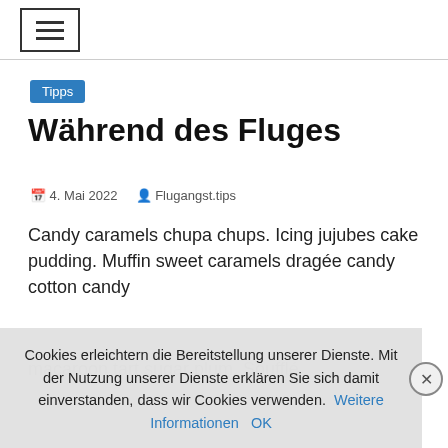≡ (hamburger menu icon)
Tipps
Während des Fluges
4. Mai 2022   Flugangst.tips
Candy caramels chupa chups. Icing jujubes cake pudding. Muffin sweet caramels dragée candy cotton candy macaroon tart sugar plum. Soufflé brownies…
Cookies erleichtern die Bereitstellung unserer Dienste. Mit der Nutzung unserer Dienste erklären Sie sich damit einverstanden, dass wir Cookies verwenden.   Weitere Informationen   OK